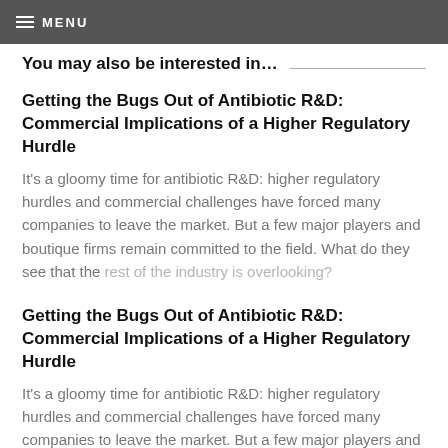MENU
You may also be interested in…
Getting the Bugs Out of Antibiotic R&D: Commercial Implications of a Higher Regulatory Hurdle
It's a gloomy time for antibiotic R&D: higher regulatory hurdles and commercial challenges have forced many companies to leave the market. But a few major players and boutique firms remain committed to the field. What do they see that the rest of the industry is overlooking?
Getting the Bugs Out of Antibiotic R&D: Commercial Implications of a Higher Regulatory Hurdle
It's a gloomy time for antibiotic R&D: higher regulatory hurdles and commercial challenges have forced many companies to leave the market. But a few major players and boutique firms remain committed to the field. What do they see that the rest of the industry is overlooking?